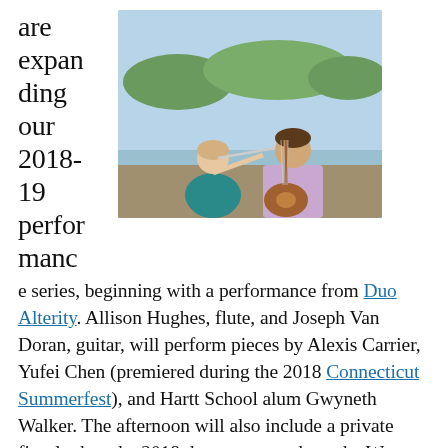are expanding our 2018-19 performance series,
[Figure (photo): Two musicians outdoors near water: a woman in a teal sleeveless dress playing flute, and a man in a light purple shirt playing acoustic guitar, with trees and a lake in the background.]
e series, beginning with a performance from Duo Alterity. Allison Hughes, flute, and Joseph Van Doran, guitar, will perform pieces by Alexis Carrier, Yufei Chen (premiered during the 2018 Connecticut Summerfest), and Hartt School alum Gwyneth Walker. The afternoon will also include a private first-look at the 2018 documentary about the Women Composers